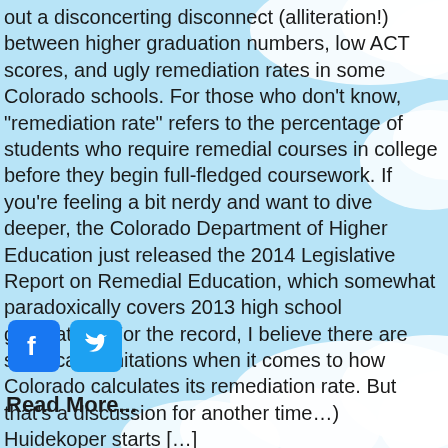out a disconcerting disconnect (alliteration!) between higher graduation numbers, low ACT scores, and ugly remediation rates in some Colorado schools. For those who don't know, "remediation rate" refers to the percentage of students who require remedial courses in college before they begin full-fledged coursework. If you're feeling a bit nerdy and want to dive deeper, the Colorado Department of Higher Education just released the 2014 Legislative Report on Remedial Education, which somewhat paradoxically covers 2013 high school graduates. (For the record, I believe there are significant limitations when it comes to how Colorado calculates its remediation rate. But that's a discussion for another time…) Huidekoper starts […]
[Figure (other): Facebook and Twitter social media share icons]
Read More...